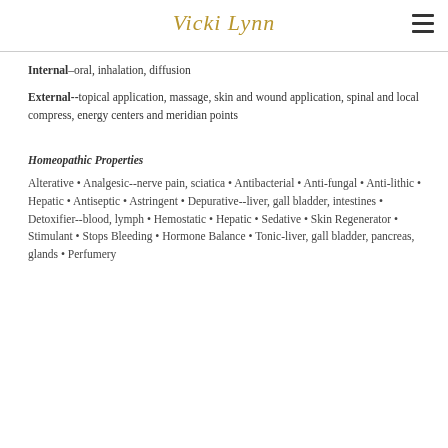Vicki Lynn
Internal–oral, inhalation, diffusion
External--topical application, massage, skin and wound application, spinal and local compress, energy centers and meridian points
Homeopathic Properties
Alterative • Analgesic--nerve pain, sciatica • Antibacterial • Anti-fungal • Anti-lithic • Hepatic • Antiseptic • Astringent • Depurative--liver, gall bladder, intestines • Detoxifier--blood, lymph • Hemostatic • Hepatic • Sedative • Skin Regenerator • Stimulant • Stops Bleeding • Hormone Balance • Tonic-liver, gall bladder, pancreas, glands • Perfumery